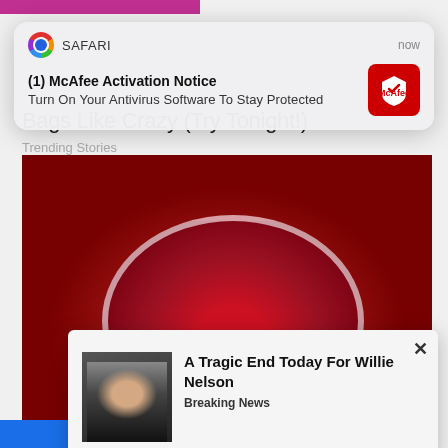[Figure (screenshot): Safari browser push notification popup: '(1) McAfee Activation Notice - Turn On Your Antivirus Software To Stay Protected' with McAfee red logo icon, timestamped 'now']
Bags Like Crazy (Try Tonight!)
Trending Stories
[Figure (photo): Close-up photo of red gummy candy pieces in a small round bowl being held by a hand]
[Figure (screenshot): Article popup overlay with photo of elderly man (Willie Nelson) and headline 'A Tragic End Today For Willie Nelson' tagged 'Breaking News', with X close button]